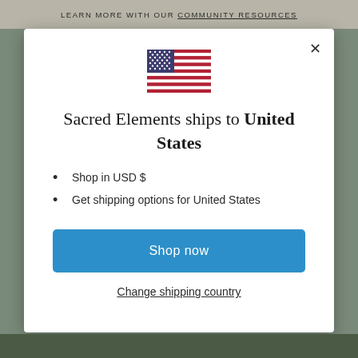LEARN MORE WITH OUR COMMUNITY RESOURCES
[Figure (illustration): US flag SVG illustration]
Sacred Elements ships to United States
Shop in USD $
Get shipping options for United States
Shop now
Change shipping country